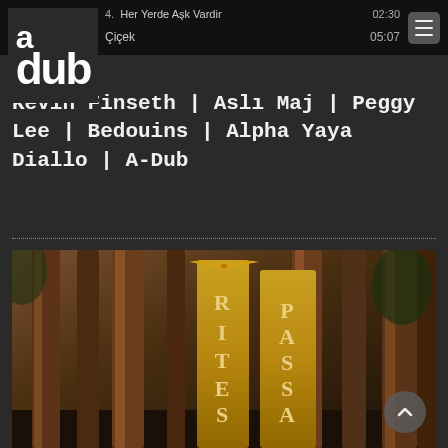4. Her Yerde Aşk Vardir   02:30
Çiçek   05:07
[Figure (logo): A-Dub logo with large 'a' on top and 'dub' below in bold white text on dark background]
Çiçek
Kevin Finseth | Aslı Maj | Peggy Lee | Bedouins | Alpha Yaya Diallo | A-Dub
[Figure (photo): Forest scene with tall reddish-brown tree trunks and two golden banner signs reading 'RITES' and 'PASSA' (Passage) with a winged emblem at top, in a dark forest setting]